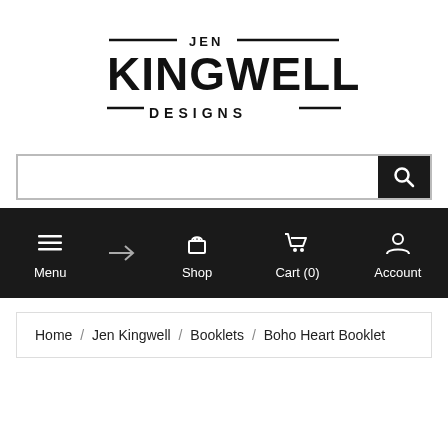[Figure (logo): Jen Kingwell Designs logo — stylized text with horizontal lines]
[Figure (screenshot): Search bar with search button on the right]
[Figure (screenshot): Navigation bar with Menu, arrow, Shop, Cart (0), Account icons on dark background]
Home / Jen Kingwell / Booklets / Boho Heart Booklet